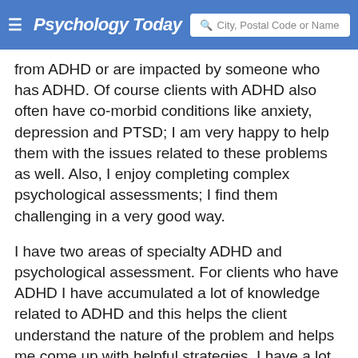Psychology Today | City, Postal Code or Name
from ADHD or are impacted by someone who has ADHD. Of course clients with ADHD also often have co-morbid conditions like anxiety, depression and PTSD; I am very happy to help them with the issues related to these problems as well. Also, I enjoy completing complex psychological assessments; I find them challenging in a very good way.
I have two areas of specialty ADHD and psychological assessment. For clients who have ADHD I have accumulated a lot of knowledge related to ADHD and this helps the client understand the nature of the problem and helps me come up with helpful strategies. I have a lot of experience with assessments for learning disabilities, ADHD, PTSD and mood disorders.
I am here to listen and provide a safe and effective